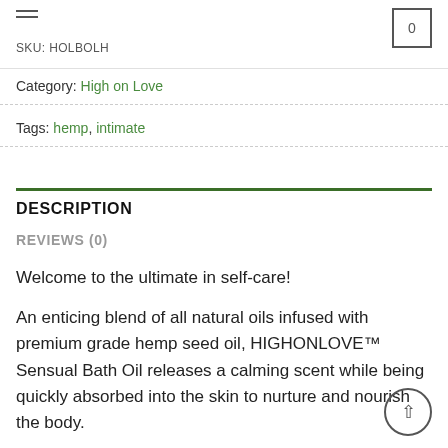SKU: HOLBOLH
Category: High on Love
Tags: hemp, intimate
DESCRIPTION
REVIEWS (0)
Welcome to the ultimate in self-care!
An enticing blend of all natural oils infused with premium grade hemp seed oil, HIGHONLOVE™ Sensual Bath Oil releases a calming scent while being quickly absorbed into the skin to nurture and nourish the body.